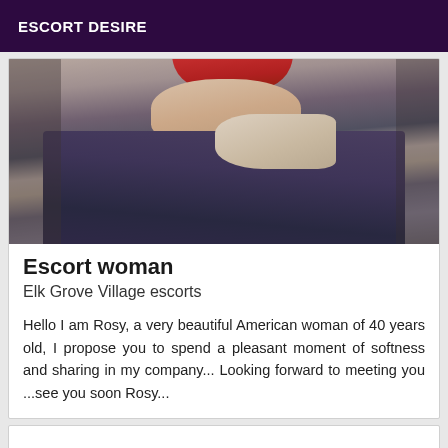ESCORT DESIRE
[Figure (photo): A close-up photo showing a person from the neck/chest area downward, wearing a dark garment with a deep neckline, a red accessory visible at the top (possibly a red strap or headband), skin visible in the chest area, dark patterned fabric on the side.]
Escort woman
Elk Grove Village escorts
Hello I am Rosy, a very beautiful American woman of 40 years old, I propose you to spend a pleasant moment of softness and sharing in my company... Looking forward to meeting you ...see you soon Rosy...